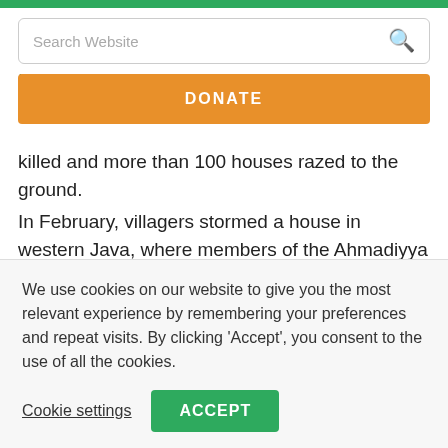Search Website
DONATE
Indonesia. False rumours that a Muslim taxi driver had been killed and more than 100 houses razed to the ground.
In February, villagers stormed a house in western Java, where members of the Ahmadiyya community, a Muslim minority, had taken shelter. The villagers were reportedly enraged after one of the Ahmadis inside the house had been accused of proselytizing-banned by decree in Indonesia. The attack left three people dead.
All of these troubling incidents are part of a gradual trend
We use cookies on our website to give you the most relevant experience by remembering your preferences and repeat visits. By clicking 'Accept', you consent to the use of all the cookies.
Cookie settings
ACCEPT